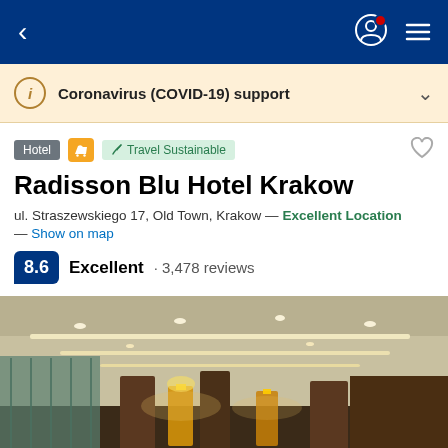Navigation bar with back arrow, user icon, and hamburger menu
Coronavirus (COVID-19) support
Hotel  Travel Sustainable
Radisson Blu Hotel Krakow
ul. Straszewskiego 17, Old Town, Krakow — Excellent Location — Show on map
8.6  Excellent · 3,478 reviews
[Figure (photo): Hotel lobby interior showing illuminated ceiling with LED light strips, reception area with wood paneling and yellow accent lighting]